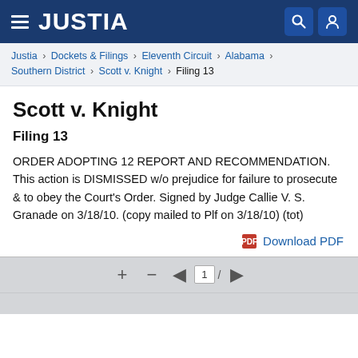JUSTIA
Justia › Dockets & Filings › Eleventh Circuit › Alabama › Southern District › Scott v. Knight › Filing 13
Scott v. Knight
Filing 13
ORDER ADOPTING 12 REPORT AND RECOMMENDATION. This action is DISMISSED w/o prejudice for failure to prosecute & to obey the Court's Order. Signed by Judge Callie V. S. Granade on 3/18/10. (copy mailed to Plf on 3/18/10) (tot)
Download PDF